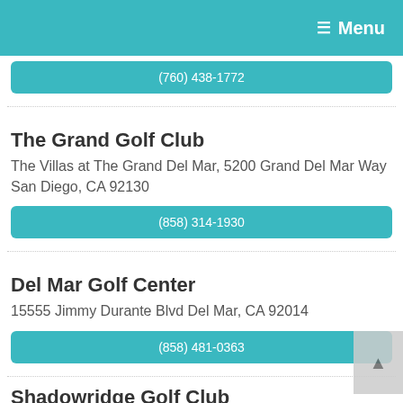Menu
(760) 438-1772
The Grand Golf Club
The Villas at The Grand Del Mar, 5200 Grand Del Mar Way San Diego, CA 92130
(858) 314-1930
Del Mar Golf Center
15555 Jimmy Durante Blvd Del Mar, CA 92014
(858) 481-0363
Shadowridge Golf Club